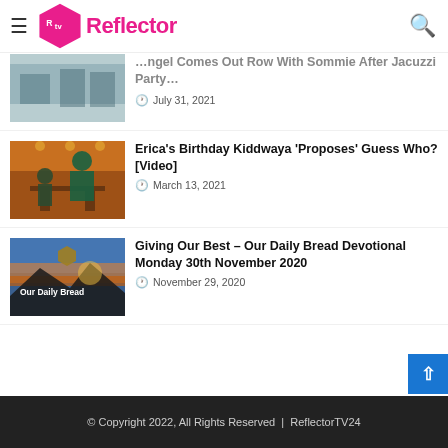TV Reflector
[Figure (screenshot): Partially visible article thumbnail - people in swimwear near a jacuzzi/bar area]
...Angel Comes Out Row With Sommie After Jacuzzi Party
July 31, 2021
[Figure (photo): Woman in green jacket at restaurant/event venue, man kneeling]
Erica's Birthday Kiddwaya 'Proposes' Guess Who? [Video]
March 13, 2021
[Figure (photo): Our Daily Bread devotional image - sunset over mountain landscape with logo]
Giving Our Best – Our Daily Bread Devotional Monday 30th November 2020
November 29, 2020
© Copyright 2022, All Rights Reserved | ReflectorTV24